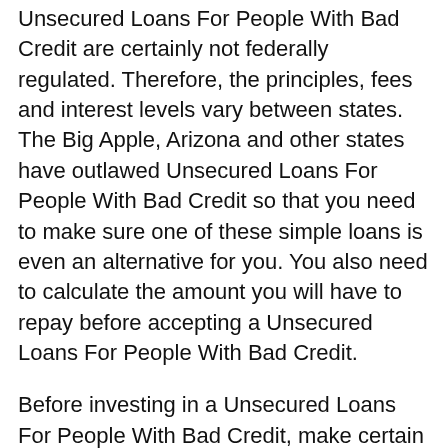Unsecured Loans For People With Bad Credit are certainly not federally regulated. Therefore, the principles, fees and interest levels vary between states. The Big Apple, Arizona and other states have outlawed Unsecured Loans For People With Bad Credit so that you need to make sure one of these simple loans is even an alternative for you. You also need to calculate the amount you will have to repay before accepting a Unsecured Loans For People With Bad Credit.
Before investing in a Unsecured Loans For People With Bad Credit, make certain that the possible company you are borrowing from is licensed through your state. In america, no matter which state the business is within, they legally really need to be licensed. When they are not licensed, chances are good that they are illegitimate.
Since you are completing the application for Unsecured Loans For People With Bad Credit, you happen to be sending your individual information over the internet for an unknown destination. Being aware of this may allow you to protect